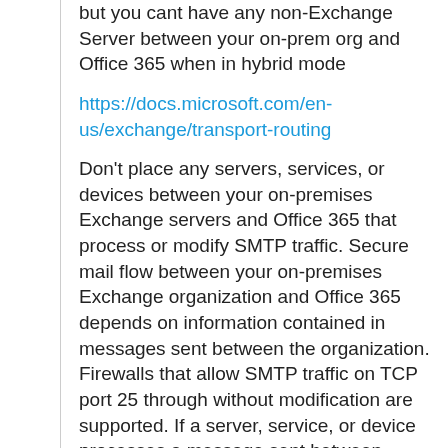but you cant have any non-Exchange Server between your on-prem org and Office 365 when in hybrid mode
https://docs.microsoft.com/en-us/exchange/transport-routing
Don't place any servers, services, or devices between your on-premises Exchange servers and Office 365 that process or modify SMTP traffic. Secure mail flow between your on-premises Exchange organization and Office 365 depends on information contained in messages sent between the organization. Firewalls that allow SMTP traffic on TCP port 25 through without modification are supported. If a server, service, or device processes a message sent between